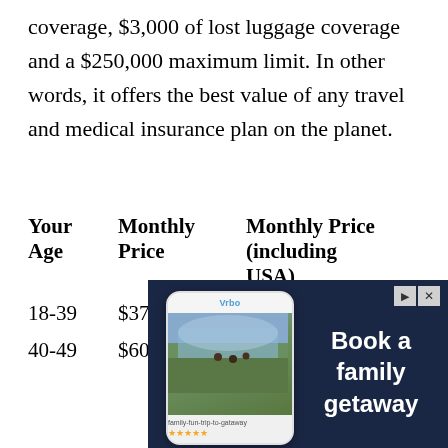coverage, $3,000 of lost luggage coverage and a $250,000 maximum limit. In other words, it offers the best value of any travel and medical insurance plan on the planet.
| Your Age | Monthly Price | Monthly Price (including USA) |
| --- | --- | --- |
| 18-39 | $37 | $68 |
| 40-49 | $60 | $111 |
[Figure (infographic): Advertisement banner with dark blue background showing a phone with travel app and text 'Book a family getaway']